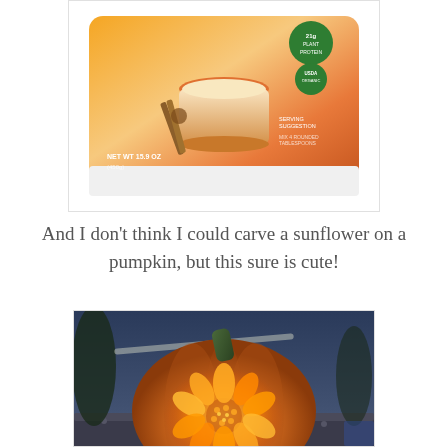[Figure (photo): Partial view of a protein powder product container with an orange label, featuring a pumpkin spice latte design with cinnamon sticks and star anise, labeled with plant protein and USDA Organic badge]
And I don’t think I could carve a sunflower on a pumpkin, but this sure is cute!
[Figure (photo): A pumpkin carved with a sunflower design, glowing orange from within against a blue-tinted outdoor background with gravel and foliage]